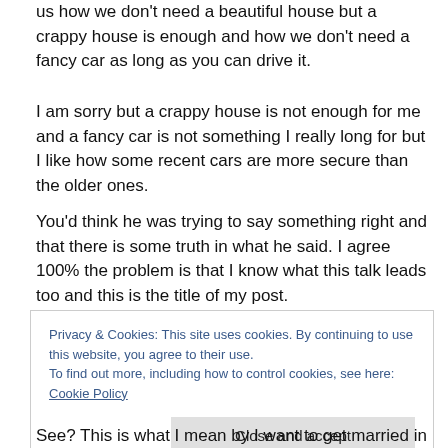us how we don't need a beautiful house but a crappy house is enough and how we don't need a fancy car as long as you can drive it.
I am sorry but a crappy house is not enough for me and a fancy car is not something I really long for but I like how some recent cars are more secure than the older ones.
You'd think he was trying to say something right and that there is some truth in what he said. I agree 100% the problem is that I know what this talk leads too and this is the title of my post.
Privacy & Cookies: This site uses cookies. By continuing to use this website, you agree to their use. To find out more, including how to control cookies, see here: Cookie Policy
See? This is what I mean by I want to get married in the